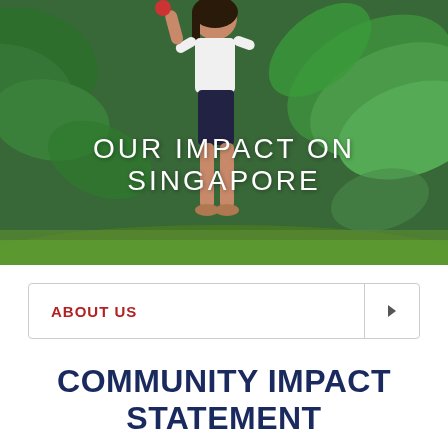[Figure (photo): A person standing in a lush tropical garden with large green leaves, viewed from behind/side, wearing white top and dark shorts, barefoot on grass. Text overlay reads 'OUR IMPACT ON SINGAPORE'.]
ABOUT US
COMMUNITY IMPACT STATEMENT